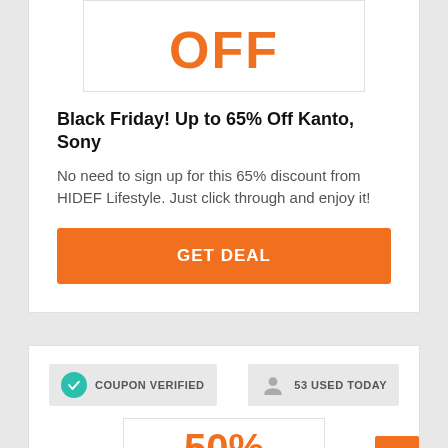[Figure (other): Partially visible large orange text showing 'OFF' discount offer graphic]
Black Friday! Up to 65% Off Kanto, Sony
No need to sign up for this 65% discount from HIDEF Lifestyle. Just click through and enjoy it!
GET DEAL
COUPON VERIFIED
53 USED TODAY
[Figure (other): Partially visible large orange text showing '50%' discount offer graphic]